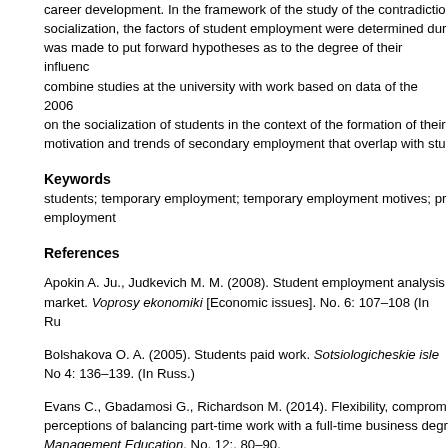career development. In the framework of the study of the contradictions of socialization, the factors of student employment were determined during the analysis; an attempt was made to put forward hypotheses as to the degree of their influence on the decision to combine studies at the university with work based on data of the 2006 research project on the socialization of students in the context of the formation of their career; the motivation and trends of secondary employment that overlap with study are revealed.
Keywords
students; temporary employment; temporary employment motives; professional employment
References
Apokin A. Ju., Judkevich M. M. (2008). Student employment analysis in the labour market. Voprosy ekonomiki [Economic issues]. No. 6: 107–108 (In Russ.)
Bolshakova O. A. (2005). Students paid work. Sotsiologicheskie issledovaniya. No 4: 136–139. (In Russ.)
Evans C., Gbadamosi G., Richardson M. (2014). Flexibility, compromise and perceptions of balancing part-time work with a full-time business degree. Management Education. No. 12:. 80–90.
Educational and career strategies for senior students of Russian universities. Higher School of Economics (HSE) (In Russ.)
Harchenko V. S. (2013). Combining work and study in a university: new practices. Voprosy obrazovanija [Education Issues]. No. 3: 92–104 (In Russ.)